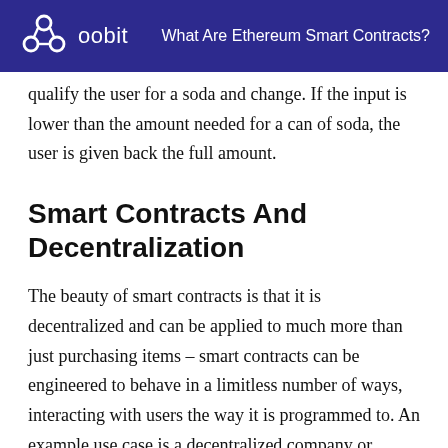oobit | What Are Ethereum Smart Contracts?
qualify the user for a soda and change. If the input is lower than the amount needed for a can of soda, the user is given back the full amount.
Smart Contracts And Decentralization
The beauty of smart contracts is that it is decentralized and can be applied to much more than just purchasing items – smart contracts can be engineered to behave in a limitless number of ways, interacting with users the way it is programmed to. An example use case is a decentralized company or organization (known as